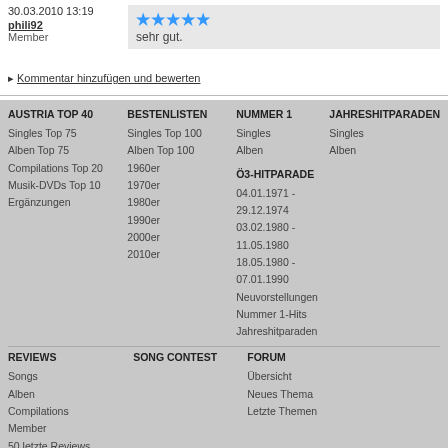30.03.2010 13:19
phili92
Member
★★★★★
sehr gut.
◇ Kommentar hinzufügen und bewerten
AUSTRIA TOP 40
Singles Top 75
Alben Top 75
Compilations Top 20
Musik-DVDs Top 10
Ergänzungen
BESTENLISTEN
Singles Top 100
Alben Top 100
1960er
1970er
1980er
1990er
2000er
2010er
NUMMER 1
Singles
Alben
Ö3-HITPARADE
04.01.1971 - 29.12.1974
03.02.1980 - 11.05.1980
18.05.1980 - 07.01.1990
Neuvorstellungen
Nummer 1-Hits
Jahreshitparaden
JAHRESHITPARADEN
Singles
Alben
REVIEWS
SONG CONTEST
FORUM
Songs
Alben
Compilations
Member
50 letzte Reviews
Aktuelle Songs
Aktuelle Alben
Übersicht
Neues Thema
Letzte Themen